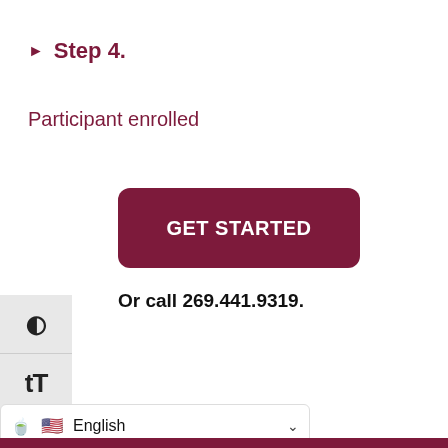Step 4.
Participant enrolled
[Figure (other): A dark red/maroon button labeled GET STARTED]
Or call 269.441.9319.
[Figure (other): Accessibility panel with contrast toggle and text size buttons]
English (language selector with US flag and chevron)